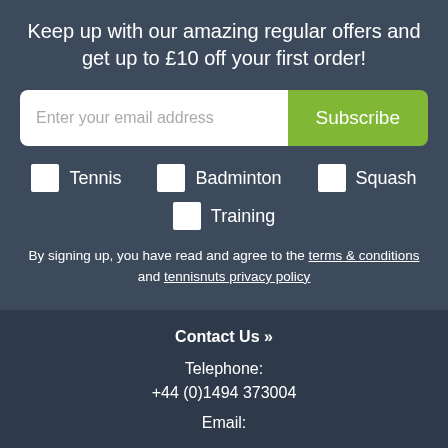Keep up with our amazing regular offers and get up to £10 off your first order!
Enter your email address  Subscribe
Tennis
Badminton
Squash
Training
By signing up, you have read and agree to the terms & conditions and tennisnuts privacy policy
Contact Us »
Telephone:
+44 (0)1494 373004
Email: